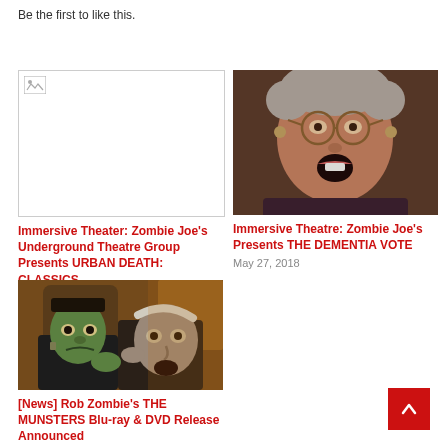Be the first to like this.
[Figure (photo): Broken image placeholder for Zombie Joe's Underground Theatre Group article]
Immersive Theater: Zombie Joe's Underground Theatre Group Presents URBAN DEATH: CLASSICS
June 22, 2016
[Figure (photo): Photo of a woman with curly gray hair wearing glasses, mouth open, for Zombie Joe's Presents THE DEMENTIA VOTE]
Immersive Theatre: Zombie Joe's Presents THE DEMENTIA VOTE
May 27, 2018
[Figure (photo): Photo of two Munsters-like monsters, green-skinned, indoors with warm lighting, for Rob Zombie's THE MUNSTERS Blu-ray & DVD Release]
[News] Rob Zombie's THE MUNSTERS Blu-ray & DVD Release Announced